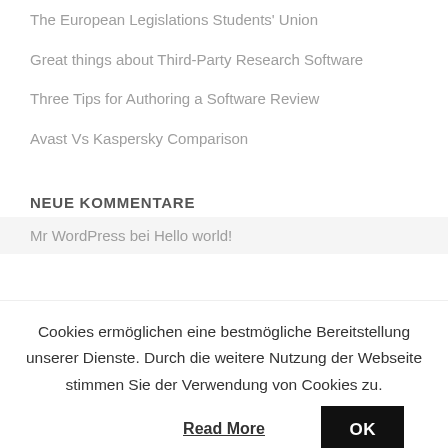The European Legislations Students' Union
Great things about Third-Party Research Software
Three Tips for Authoring a Software Review
Avast Vs Kaspersky Comparison
NEUE KOMMENTARE
Mr WordPress bei Hello world!
Cookies ermöglichen eine bestmögliche Bereitstellung unserer Dienste. Durch die weitere Nutzung der Webseite stimmen Sie der Verwendung von Cookies zu.
OK
Read More